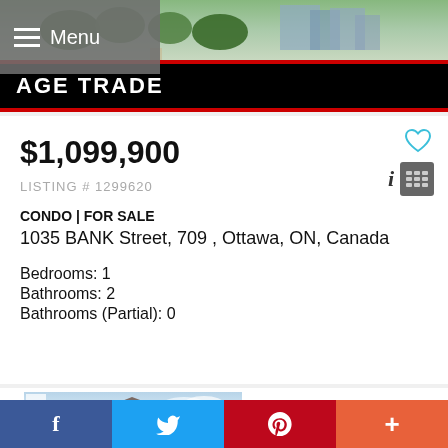[Figure (photo): Exterior photo of a condominium building with green landscaping and trees]
AGE TRADE
$1,099,900
LISTING # 1299620
CONDO | FOR SALE
1035 BANK Street, 709 , Ottawa, ON, Canada
Bedrooms: 1
Bathrooms: 2
Bathrooms (Partial): 0
[Figure (photo): Exterior photo of a house with bare trees and partly cloudy sky]
f  Twitter icon  p  +